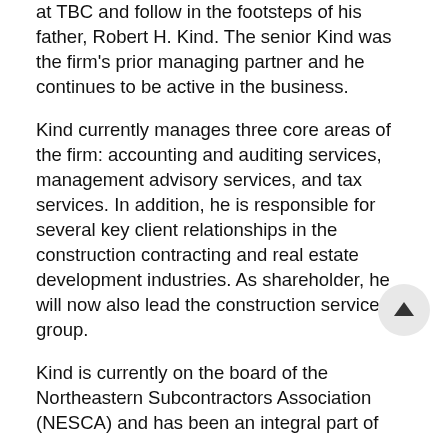at TBC and follow in the footsteps of his father, Robert H. Kind. The senior Kind was the firm's prior managing partner and he continues to be active in the business.
Kind currently manages three core areas of the firm: accounting and auditing services, management advisory services, and tax services. In addition, he is responsible for several key client relationships in the construction contracting and real estate development industries. As shareholder, he will now also lead the construction services group.
Kind is currently on the board of the Northeastern Subcontractors Association (NESCA) and has been an integral part of